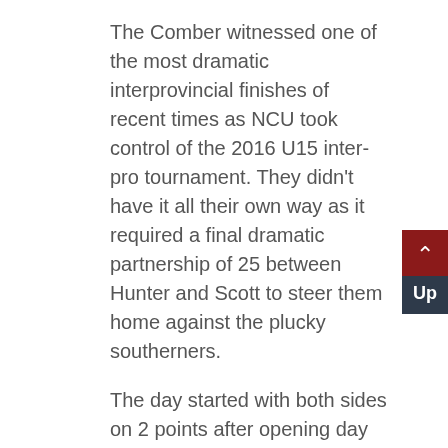The Comber witnessed one of the most dramatic interprovincial finishes of recent times as NCU took control of the 2016 U15 inter-pro tournament. They didn't have it all their own way as it required a final dramatic partnership of 25 between Hunter and Scott to steer them home against the plucky southerners.
The day started with both sides on 2 points after opening day victories. However there was a late ground switch from CIYMS to an artificial in North Down due to the recent bad weather. Unfortunately this message was not relayed properly with many supporters arriving at the wrong ground to their dismay. Despite the forecast and threatening clouds, the ground was deemed well enough to play on at 11am and the Southern XI once again won the toss and batted. Carey came into the team, recovered from yesterday's illness and Fionn